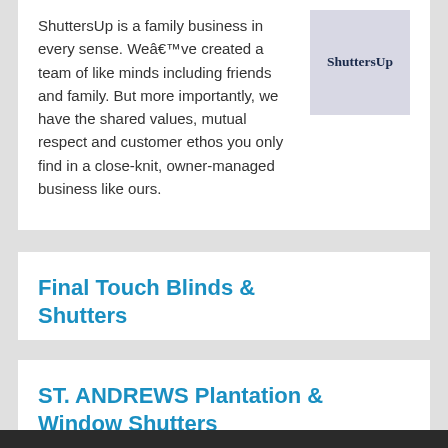ShuttersUp is a family business in every sense. Weâ€™ve created a team of like minds including friends and family. But more importantly, we have the shared values, mutual respect and customer ethos you only find in a close-knit, owner-managed business like ours.
[Figure (logo): ShuttersUp logo — text 'ShuttersUp' in bold serif font on light purple/grey background]
Final Touch Blinds & Shutters
ST. ANDREWS Plantation & Window Shutters